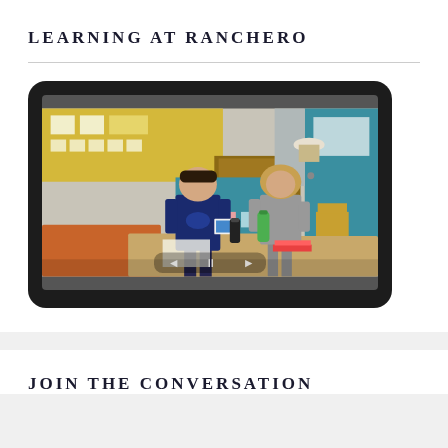LEARNING AT RANCHERO
[Figure (screenshot): A classroom scene showing two students working at desks. One boy in a dark blue shirt holds a tablet device, and a girl with blonde hair leans over a desk. The classroom has yellow bulletin boards, a teal storage unit, and a teal/blue door. Various school supplies visible on desks. A video player interface with back, pause, and forward controls is overlaid at the bottom of the image, displayed within a tablet frame with a black border.]
JOIN THE CONVERSATION